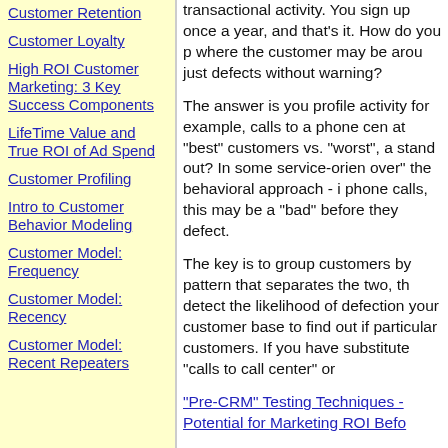Customer Retention
Customer Loyalty
High ROI Customer Marketing: 3 Key Success Components
LifeTime Value and True ROI of Ad Spend
Customer Profiling
Intro to Customer Behavior Modeling
Customer Model: Frequency
Customer Model: Recency
Customer Model: Recent Repeaters
transactional activity.  You sign up once a year, and that's it.  How do you predict where the customer may be around, or just defects without warning?
The answer is you profile activity - for example, calls to a phone center - at "best" customers vs. "worst", and stand out?  In some service-oriented "over" the behavioral approach - in phone calls, this may be a "bad" before they defect.
The key is to group customers by pattern that separates the two, then detect the likelihood of defection your customer base to find out if particular customers.  If you have substitute "calls to call center" or
"Pre-CRM" Testing Techniques - Potential for Marketing ROI Befo
If you have a website or telephone might mean customers are getting are satisfied and are going to sta